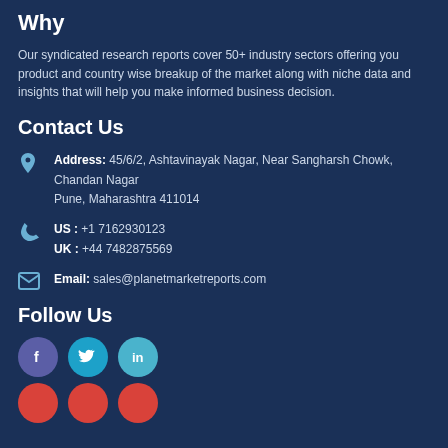Why
Our syndicated research reports cover 50+ industry sectors offering you product and country wise breakup of the market along with niche data and insights that will help you make informed business decision.
Contact Us
Address: 45/6/2, Ashtavinayak Nagar, Near Sangharsh Chowk, Chandan Nagar
Pune, Maharashtra 411014
US : +1 7162930123
UK : +44 7482875569
Email: sales@planetmarketreports.com
Follow Us
[Figure (infographic): Social media icons: Facebook (purple circle), Twitter (light blue circle), LinkedIn (light blue circle), and two red circles below]